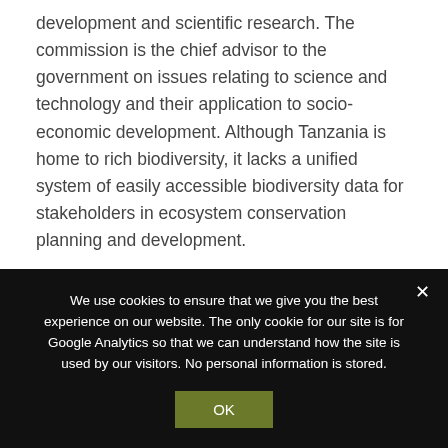development and scientific research. The commission is the chief advisor to the government on issues relating to science and technology and their application to socio-economic development. Although Tanzania is home to rich biodiversity, it lacks a unified system of easily accessible biodiversity data for stakeholders in ecosystem conservation planning and development.
Key Objectives and Activities
We use cookies to ensure that we give you the best experience on our website. The only cookie for our site is for Google Analytics so that we can understand how the site is used by our visitors. No personal information is stored.